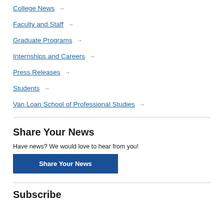College News →
Faculty and Staff →
Graduate Programs →
Internships and Careers →
Press Releases →
Students →
Van Loan School of Professional Studies →
Share Your News
Have news? We would love to hear from you!
Share Your News
Subscribe